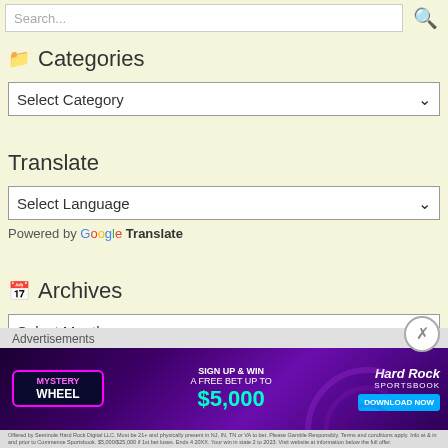Search...
Categories
Select Category
Translate
Select Language
Powered by Google Translate
Archives
Select Month
SUBSCRIBE TO BLOG VIA EMAIL
Enter your email address to subscribe to this blog and receive notifications of new posts by email.
Advertisements
[Figure (photo): Hard Rock Sportsbook advertisement banner: Mystery Wheel - Sign Up & Win A Free Bet Up To $5,000 - Download Now button]